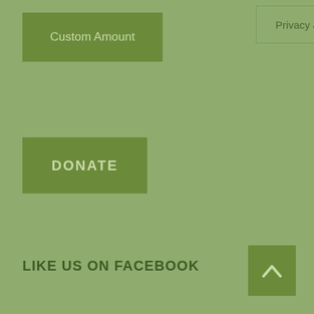Custom Amount
Privacy & Cookies Policy
DONATE
LIKE US ON FACEBOOK
[Figure (other): Three white loading dots of increasing size arranged left to right]
[Figure (other): Scroll to top button with upward chevron arrow]